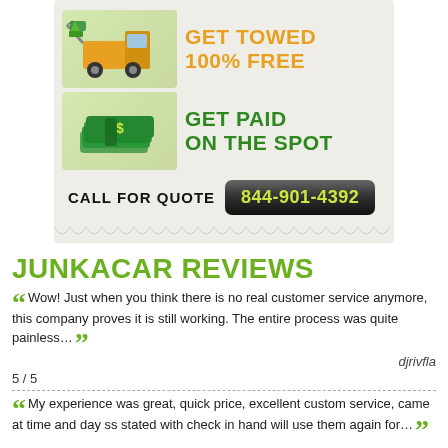[Figure (infographic): Advertisement for JunkACar service showing tow truck with 'GET TOWED 100% FREE' text in orange, cash pile with 'GET PAID ON THE SPOT' text in green, and a call-to-action button 'CALL FOR QUOTE 844-901-4392']
JUNKACAR REVIEWS
Wow! Just when you think there is no real customer service anymore, this company proves it is still working. The entire process was quite painless…
djrivfla
5 / 5
My experience was great, quick price, excellent custom service, came at time and day ss stated with check in hand will use them again for…